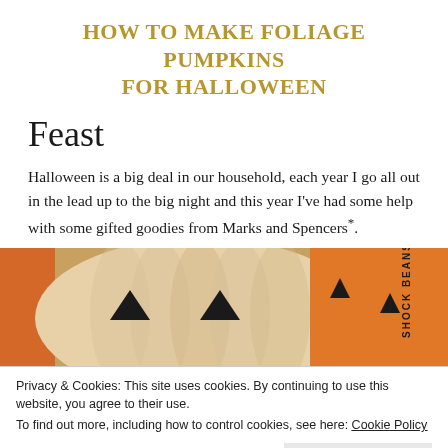HOW TO MAKE FOLIAGE PUMPKINS FOR HALLOWEEN
Feast
Halloween is a big deal in our household, each year I go all out in the lead up to the big night and this year I've had some help with some gifted goodies from Marks and Spencers*.
[Figure (photo): Photo of foliage pumpkins with jack-o-lantern faces and Marks and Spencer Shock Beans packaging in the background]
Privacy & Cookies: This site uses cookies. By continuing to use this website, you agree to their use.
To find out more, including how to control cookies, see here: Cookie Policy
[Figure (photo): Bottom strip showing partial photo of Halloween treats including biscuits packaging]